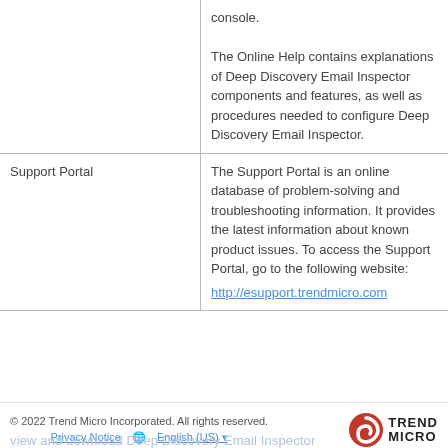|  |  |
| --- | --- |
|  | console.

The Online Help contains explanations of Deep Discovery Email Inspector components and features, as well as procedures needed to configure Deep Discovery Email Inspector. |
| Support Portal | The Support Portal is an online database of problem-solving and troubleshooting information. It provides the latest information about known product issues. To access the Support Portal, go to the following website:

http://esupport.trendmicro.com |
© 2022 Trend Micro Incorporated. All rights reserved.
Privacy Notice   English (US)
view and download Deep Discovery Email Inspector